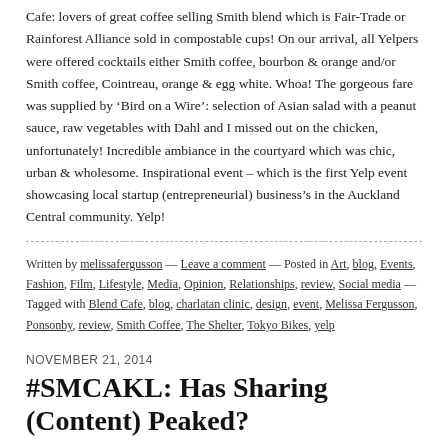Cafe: lovers of great coffee selling Smith blend which is Fair-Trade or Rainforest Alliance sold in compostable cups! On our arrival, all Yelpers were offered cocktails either Smith coffee, bourbon & orange and/or Smith coffee, Cointreau, orange & egg white. Whoa! The gorgeous fare was supplied by 'Bird on a Wire': selection of Asian salad with a peanut sauce, raw vegetables with Dahl and I missed out on the chicken, unfortunately! Incredible ambiance in the courtyard which was chic, urban & wholesome. Inspirational event – which is the first Yelp event showcasing local startup (entrepreneurial) business's in the Auckland Central community. Yelp!
Written by melissafergusson — Leave a comment — Posted in Art, blog, Events, Fashion, Film, Lifestyle, Media, Opinion, Relationships, review, Social media — Tagged with Blend Cafe, blog, charlatan clinic, design, event, Melissa Fergusson, Ponsonby, review, Smith Coffee, The Shelter, Tokyo Bikes, yelp
NOVEMBER 21, 2014
#SMCAKL: Has Sharing (Content) Peaked?
What do you think? After attending the last Social Media Club – Auckland